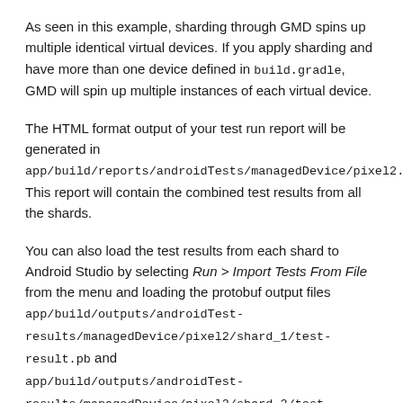As seen in this example, sharding through GMD spins up multiple identical virtual devices. If you apply sharding and have more than one device defined in build.gradle, GMD will spin up multiple instances of each virtual device.
The HTML format output of your test run report will be generated in app/build/reports/androidTests/managedDevice/pixel2. This report will contain the combined test results from all the shards.
You can also load the test results from each shard to Android Studio by selecting Run > Import Tests From File from the menu and loading the protobuf output files app/build/outputs/androidTest-results/managedDevice/pixel2/shard_1/test-result.pb and app/build/outputs/androidTest-results/managedDevice/pixel2/shard_2/test-result.pb.